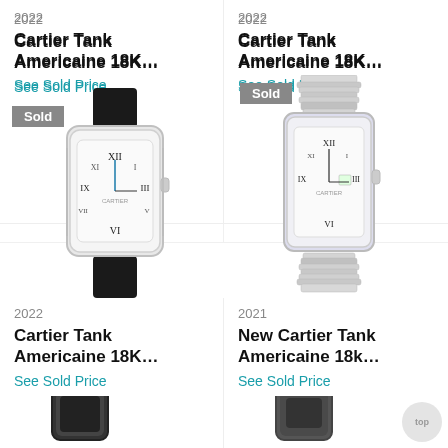2022
Cartier Tank Americaine 18K…
See Sold Price
2022
Cartier Tank Americaine 18K…
See Sold Price
[Figure (photo): Cartier Tank Americaine 18K watch with black leather strap, white dial, Roman numerals, Sold badge]
[Figure (photo): Cartier Tank Americaine 18K watch with silver metal bracelet, white dial, Roman numerals, Sold badge]
2022
Cartier Tank Americaine 18K…
See Sold Price
2021
New Cartier Tank Americaine 18k…
See Sold Price
[Figure (photo): Partial view of Cartier Tank watch with black leather strap at bottom of page]
[Figure (photo): Partial view of Cartier Tank watch with dark bracelet at bottom of page]